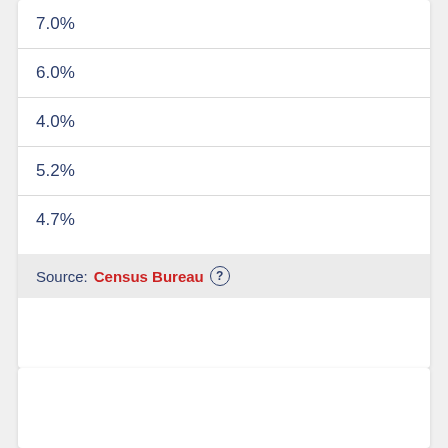7.0%
6.0%
4.0%
5.2%
4.7%
Source: Census Bureau ?